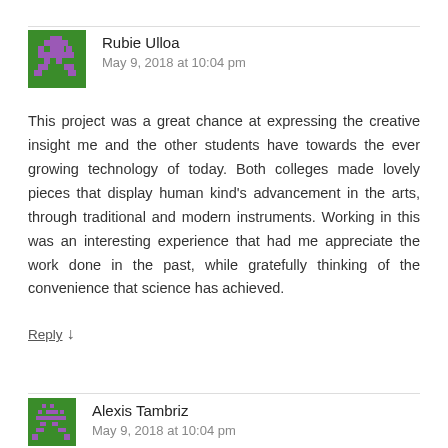Rubie Ulloa
May 9, 2018 at 10:04 pm
This project was a great chance at expressing the creative insight me and the other students have towards the ever growing technology of today. Both colleges made lovely pieces that display human kind's advancement in the arts, through traditional and modern instruments. Working in this was an interesting experience that had me appreciate the work done in the past, while gratefully thinking of the convenience that science has achieved.
Reply ↓
Alexis Tambriz
May 9, 2018 at 10:04 pm